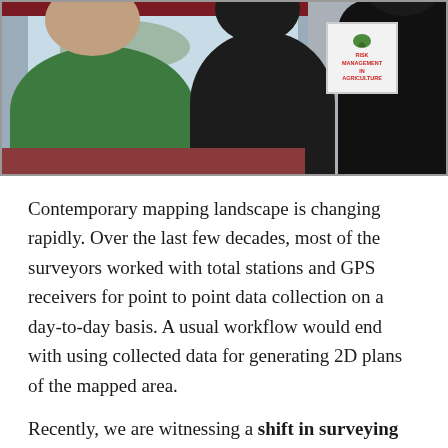[Figure (photo): Photo of people seated at a conference or workshop, viewed from behind. A person in a green top is on the left, a person in dark clothing in the center, and another person in dark clothing on the right. A sign reading 'RISK MANAGEMENT IN AGRICULTURE' with a green leaf icon is visible on the wall. A window is visible in the background.]
Contemporary mapping landscape is changing rapidly. Over the last few decades, most of the surveyors worked with total stations and GPS receivers for point to point data collection on a day-to-day basis. A usual workflow would end with using collected data for generating 2D plans of the mapped area.
Recently, we are witnessing a shift in surveying and mapping technology due to rapid hardware and